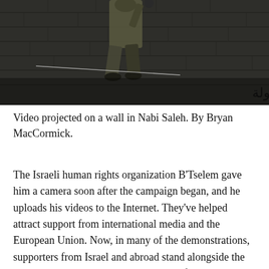[Figure (photo): Video still of a soldier figure projected on a stone wall with Arabic graffiti text at the bottom, dark and moody tone.]
Video projected on a wall in Nabi Saleh. By Bryan MacCormick.
The Israeli human rights organization B'Tselem gave him a camera soon after the campaign began, and he uploads his videos to the Internet. They've helped attract support from international media and the European Union. Now, in many of the demonstrations, supporters from Israel and abroad stand alongside the villagers. Their target is the mentality of occupation and control, of land grabs and night raids. When that is gone, the people of Nabi Saleh